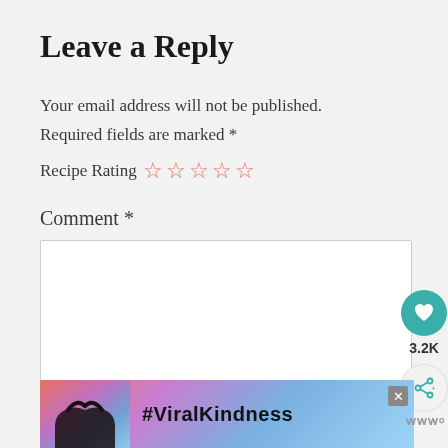Leave a Reply
Your email address will not be published.
Required fields are marked *
Recipe Rating ☆☆☆☆☆
Comment *
[Figure (other): Comment text area input box (white rectangle)]
[Figure (other): Floating action buttons: teal heart button with 3.2K count, and share button]
[Figure (other): Advertisement banner with #ViralKindness text and silhouette of hands forming heart shape]